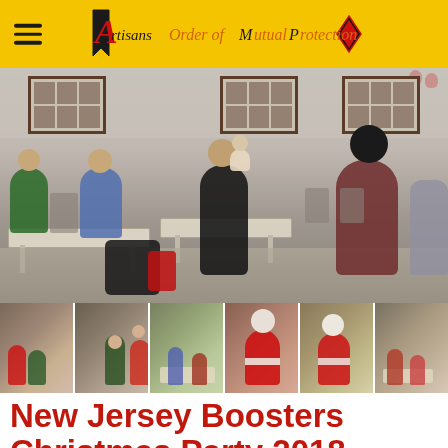Artisans Order of Mutual Protection
[Figure (photo): Main photo of New Jersey Boosters Christmas Party 2018 — people gathered in a hall with folding tables, windows with dark frames on the walls, holiday decorations]
[Figure (photo): Strip of 6 thumbnail photos from the Christmas Party 2018 event]
New Jersey Boosters Christmas Party 2018